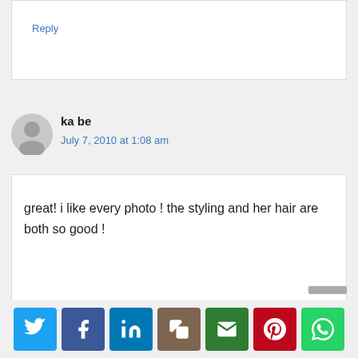Reply
ka be
July 7, 2010 at 1:08 am
great! i like every photo ! the styling and her hair are both so good !
[Figure (infographic): Social sharing icons row: Twitter (blue bird), Facebook (blue f), LinkedIn (blue in), Copy (brown pages), Email (green envelope), Pinterest (red P), WhatsApp (green phone)]